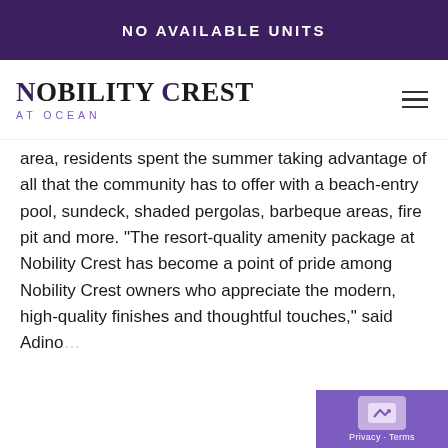NO AVAILABLE UNITS
[Figure (logo): Nobility Crest At Ocean logo with serif font and hamburger menu icon]
area, residents spent the summer taking advantage of all that the community has to offer with a beach-entry pool, sundeck, shaded pergolas, barbeque areas, fire pit and more. “The resort-quality amenity package at Nobility Crest has become a point of pride among Nobility Crest owners who appreciate the modern, high-quality finishes and thoughtful touches,” said Adino...